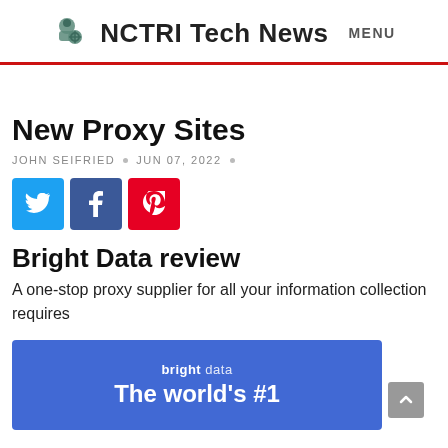NCTRI Tech News  MENU
New Proxy Sites
JOHN SEIFRIED  •  JUN 07, 2022  •
[Figure (infographic): Social share buttons: Twitter (blue), Facebook (dark blue), Pinterest (red)]
Bright Data review
A one-stop proxy supplier for all your information collection requires
[Figure (screenshot): Bright Data banner with blue background showing 'bright data' logo and text 'The world's #1']